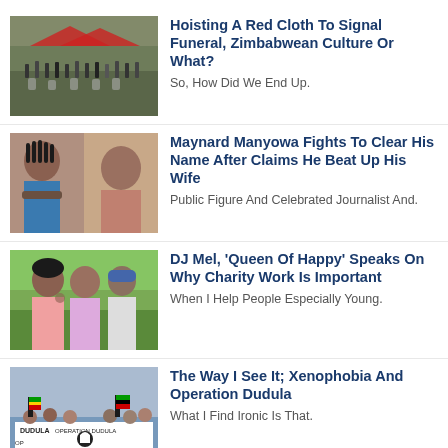[Figure (photo): Outdoor crowd scene, people at a gathering or funeral]
Hoisting A Red Cloth To Signal Funeral, Zimbabwean Culture Or What?
So, How Did We End Up.
[Figure (photo): Two people, a woman with arms crossed and another person]
Maynard Manyowa Fights To Clear His Name After Claims He Beat Up His Wife
Public Figure And Celebrated Journalist And.
[Figure (photo): Women speaking outdoors, green background]
DJ Mel, 'Queen Of Happy' Speaks On Why Charity Work Is Important
When I Help People Especially Young.
[Figure (photo): Crowd holding Operation Dudula banner at protest]
The Way I See It; Xenophobia And Operation Dudula
What I Find Ironic Is That.